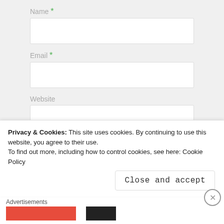Name *
Email *
Website
Post Comment
Notify me of new comments via email.
Privacy & Cookies: This site uses cookies. By continuing to use this website, you agree to their use.
To find out more, including how to control cookies, see here: Cookie Policy
Close and accept
Advertisements